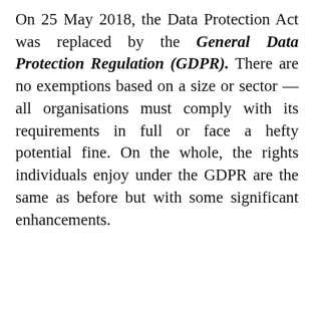On 25 May 2018, the Data Protection Act was replaced by the General Data Protection Regulation (GDPR). There are no exemptions based on a size or sector — all organisations must comply with its requirements in full or face a hefty potential fine. On the whole, the rights individuals enjoy under the GDPR are the same as before but with some significant enhancements.
Advertisements
[Figure (other): WordPress.com advertisement banner: 'Simplified pricing for everything you need.' with WordPress.com logo on gradient purple-pink background]
Advertisements
[Figure (other): WordPress.com advertisement: 'Build a writing habit. Post on the go.' with GET THE APP button and WordPress logo, on light grey background]